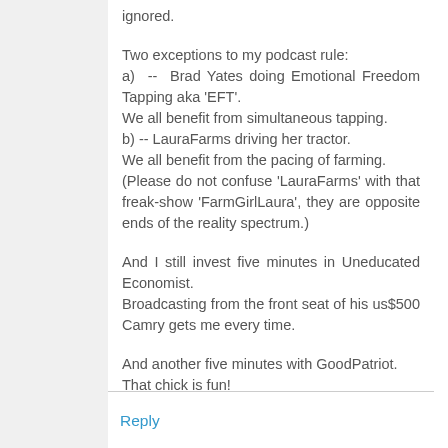ignored.
Two exceptions to my podcast rule:
a)  --  Brad Yates doing Emotional Freedom Tapping aka 'EFT'.
We all benefit from simultaneous tapping.
b) -- LauraFarms driving her tractor.
We all benefit from the pacing of farming.
(Please do not confuse 'LauraFarms' with that freak-show 'FarmGirlLaura', they are opposite ends of the reality spectrum.)
And I still invest five minutes in Uneducated Economist.
Broadcasting from the front seat of his us$500 Camry gets me every time.
And another five minutes with GoodPatriot.
That chick is fun!
Reply